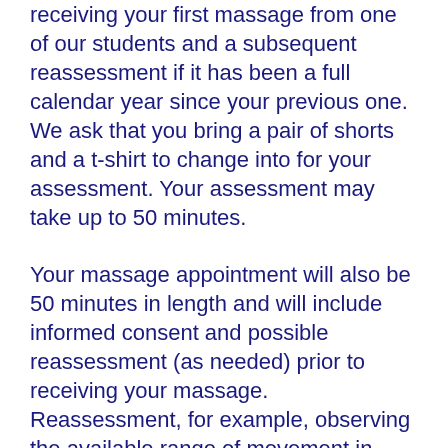receiving your first massage from one of our students and a subsequent reassessment if it has been a full calendar year since your previous one. We ask that you bring a pair of shorts and a t-shirt to change into for your assessment. Your assessment may take up to 50 minutes.
Your massage appointment will also be 50 minutes in length and will include informed consent and possible reassessment (as needed) prior to receiving your massage. Reassessment, for example, observing the available range of movement in your shoulder as compared to your prior treatment, will allow the students to evaluate your progress and how effective your treatment has been.